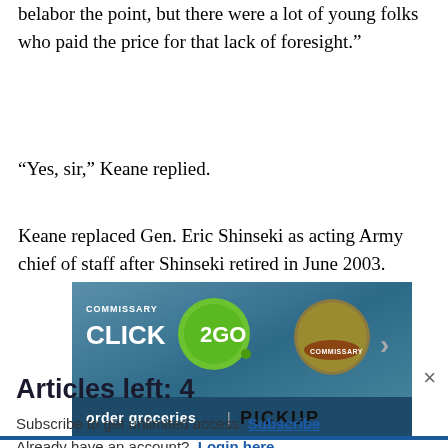belabor the point, but there were a lot of young folks who paid the price for that lack of foresight.”
“Yes, sir,” Keane replied.
Keane replaced Gen. Eric Shinseki as acting Army chief of staff after Shinseki retired in June 2003.
[Figure (screenshot): Advertisement banner for Commissary Click2Go service, showing a green circle logo, Commissary badge, and text 'order groceries | PICKUP' on a blue-grey background]
Articles left: 4
Subscribe to get unlimited access  Subscribe
Already have an account?  Login here